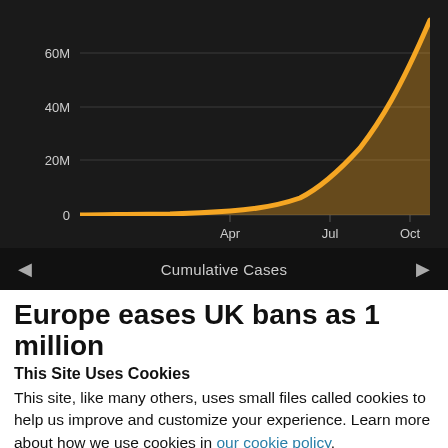[Figure (continuous-plot): Cumulative COVID-19 cases area/line chart on dark background. Y-axis labels: 0, 20M, 40M, 60M. X-axis labels: Apr, Jul, Oct. Orange exponential curve rising sharply toward upper right. Navigation bar below chart with left arrow, 'Cumulative Cases' label, and right arrow.]
Europe eases UK bans as 1 million
This Site Uses Cookies
This site, like many others, uses small files called cookies to help us improve and customize your experience. Learn more about how we use cookies in our cookie policy.
Learn more about cookies   OK